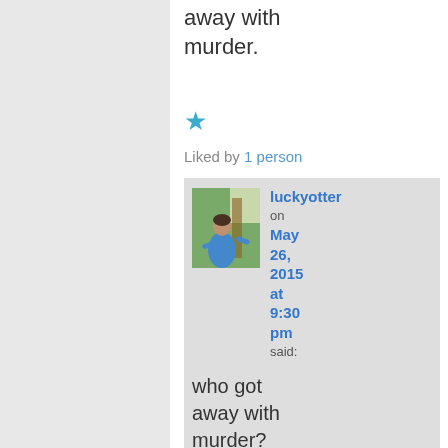away with murder.
[Figure (illustration): Blue star icon for 'like' button]
Liked by 1 person
luckyotter on May 26, 2015 at 9:30 pm said:
[Figure (photo): Avatar photo of a person in blue shirt outdoors]
who got away with murder? You have another website?